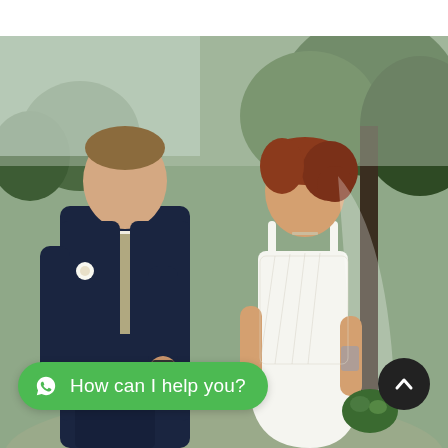[Figure (photo): Wedding photo of a bride and groom holding hands and smiling at each other outdoors. The groom wears a navy suit with a cream/gold tie and waistcoat with a white boutonnière. The bride has red/auburn hair, wears a white lace spaghetti-strap wedding gown and veil, and holds a small green bouquet. Trees are visible in the background.]
How can I help you?